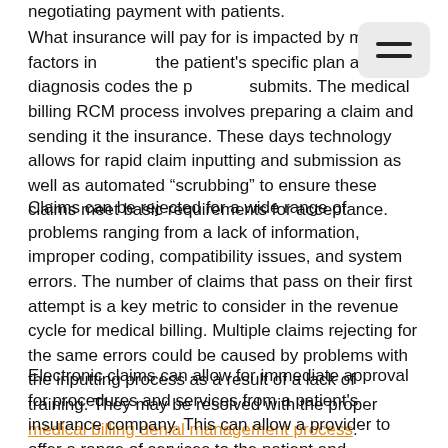negotiating payment with patients.
What insurance will pay for is impacted by many factors including the patient's specific plan and what diagnosis codes the provider submits. The medical billing RCM process involves preparing a claim and sending it the insurance. These days technology allows for rapid claim inputting and submission as well as automated "scrubbing" to ensure these claims meet basic requirements for acceptance.
Claims can be rejected for a wide range of problems ranging from a lack of information, improper coding, compatibility issues, and system errors. The number of claims that pass on their first attempt is a key metric to consider in the revenue cycle for medical billing. Multiple claims rejecting for the same errors could be caused by problems with the inputting process as a result of a lack of training. They may be resolved with the proper medical billing denial management process.
Electronic claims can allow for immediate approval for procedures and services from a patient's insurance company. This can allow a provider to offer a range of services to the patient and increases the likelihood of receiving associated payments. Thus efficiently